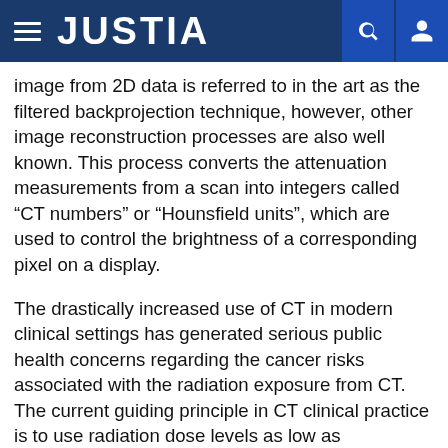JUSTIA
image from 2D data is referred to in the art as the filtered backprojection technique, however, other image reconstruction processes are also well known. This process converts the attenuation measurements from a scan into integers called “CT numbers” or “Hounsfield units”, which are used to control the brightness of a corresponding pixel on a display.
The drastically increased use of CT in modern clinical settings has generated serious public health concerns regarding the cancer risks associated with the radiation exposure from CT. The current guiding principle in CT clinical practice is to use radiation dose levels as low as reasonably achievable while maintaining acceptable diagnostic accuracy. However, lowering radiation dose alone generally produces a noisier image and may seriously degrade diagnostic performance. Many